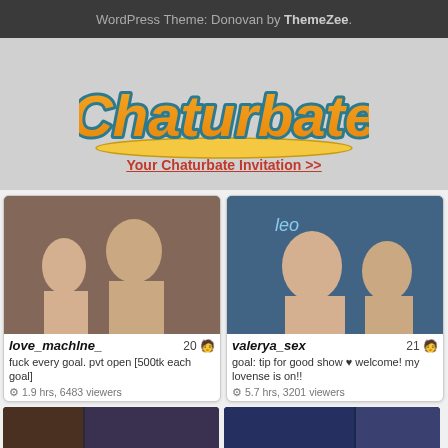WordPress Theme: Donovan by ThemeZee.
[Figure (logo): Chaturbate logo — orange and yellow stylized script text with teal outline on grey background]
Your Chaturbate Invitation >>
[Figure (photo): Thumbnail for love_machine_ stream]
love_machine_  20
fuck every goal. pvt open [500tk each goal]
1.9 hrs, 6483 viewers
[Figure (photo): Thumbnail for valerya_sex stream]
valerya_sex  21
goal: tip for good show ♥ welcome! my lovense is on!!
5.7 hrs, 3201 viewers
[Figure (photo): Partial thumbnail of a third stream at bottom left]
[Figure (photo): Partial thumbnail of a fourth stream at bottom right]